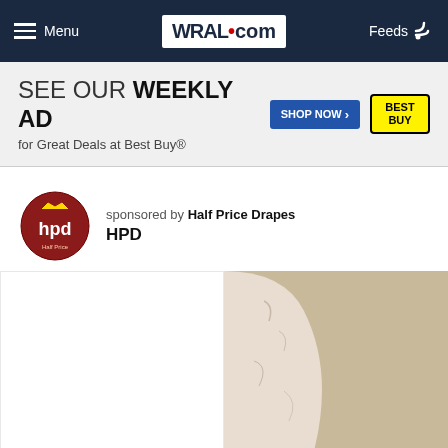WRAL.com — Menu | Feeds
[Figure (infographic): Best Buy advertisement banner: SEE OUR WEEKLY AD for Great Deals at Best Buy® with SHOP NOW button and Best Buy logo]
sponsored by Half Price Drapes
HPD
[Figure (photo): Partial photo of a person near a textured beige/white curved wall, showing curly dark hair and white clothing, right half of split image layout]